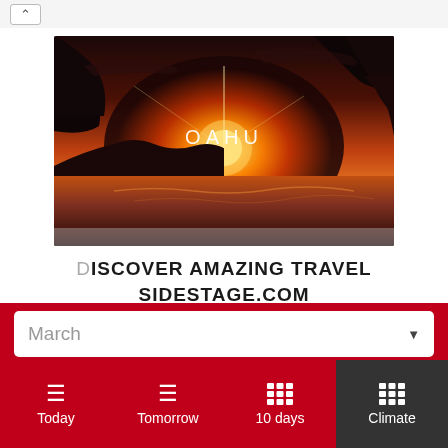[Figure (screenshot): Screenshot of a travel website showing a scenic sunset photo of Oahu, Hawaii with navigation arrows, the text 'OAHU' overlaid on the image, a 'DISCOVER AMAZING TRAVEL SIDESTAGE.COM' heading, a month dropdown selector showing 'March', and a tab bar with Today, Tomorrow, 10 days, and Climate options.]
DISCOVER AMAZING TRAVEL SIDESTAGE.COM
March
Today
Tomorrow
10 days
Climate